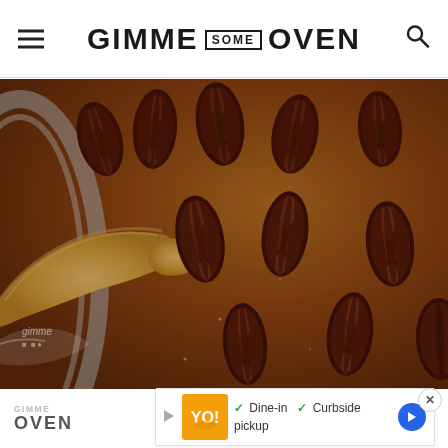GIMME SOME OVEN
[Figure (photo): Close-up photograph of a pecan pie in a glass pie dish, showing golden-brown pastry crust edges and rows of whole pecans arranged on top of a caramel filling, shot from an angle with shallow depth of field]
[Figure (infographic): Advertisement banner showing Dine-in and Curbside pickup options with a restaurant logo]